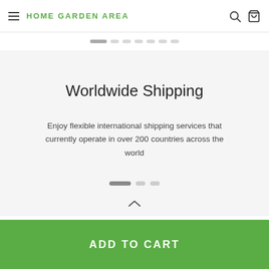HOME GARDEN AREA
Worldwide Shipping
Enjoy flexible international shipping services that currently operate in over 200 countries across the world
ADD TO CART